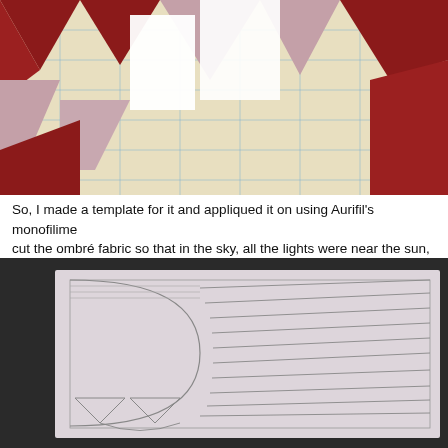[Figure (photo): Close-up photo of a quilt in progress on a cutting mat, showing red, white, and pink/mauve fabric pieces arranged in a star pattern with blue grid lines visible on the mat beneath.]
So, I made a template for it and appliqued it on using Aurifil's monofilime... cut the ombré fabric so that in the sky, all the lights were near the sun, a...
[Figure (photo): Photo of a hand-drawn pencil sketch on light pink/lavender paper, placed on a dark background. The sketch shows a sun design with radiating rays spreading across the paper, with a curved sun shape on the left and rays extending to the right. There are also some angular shapes drawn at the bottom left corner.]